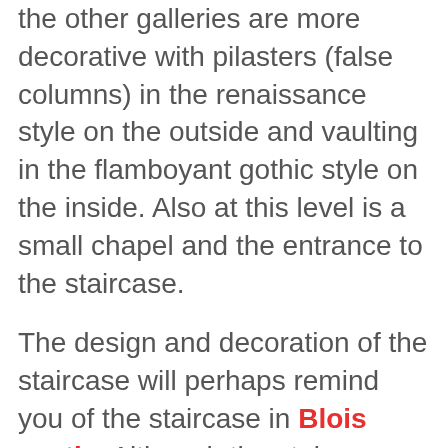the other galleries are more decorative with pilasters (false columns) in the renaissance style on the outside and vaulting in the flamboyant gothic style on the inside. Also at this level is a small chapel and the entrance to the staircase.
The design and decoration of the staircase will perhaps remind you of the staircase in Blois castle. Although the staircase here is smaller it is thought that the design is based on the staircase at Blois.
Upstairs in the la Psalette cloister you can see two of the the rooms where the monks worked: the scriptorium and the library. Most impressive though is the terrace, which has remarkable views